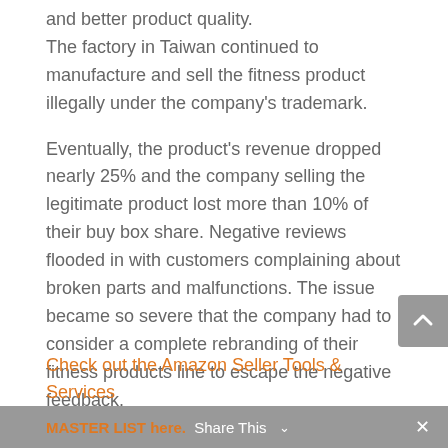and better product quality. The factory in Taiwan continued to manufacture and sell the fitness product illegally under the company's trademark.
Eventually, the product's revenue dropped nearly 25% and the company selling the legitimate product lost more than 10% of their buy box share. Negative reviews flooded in with customers complaining about broken parts and malfunctions. The issue became so severe that the company had to consider a complete rebranding of their fitness products line to escape the negative feedback.
Check out the Amazon Seller Tools & Services MASTER LIST here.
MASTER LIST here. Share This ×